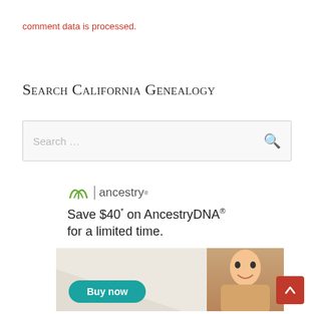comment data is processed.
Search California Genealogy
[Figure (screenshot): Search box with placeholder text 'Search ...' and a search (magnifying glass) icon on the right, inside a light grey bordered rectangle]
[Figure (infographic): Ancestry DNA advertisement showing the Ancestry logo with green leaf icon, text 'Save $40* on AncestryDNA® for a limited time.', a teal 'Buy now' button, and a photo of a smiling Asian man on the right side with a light beige background]